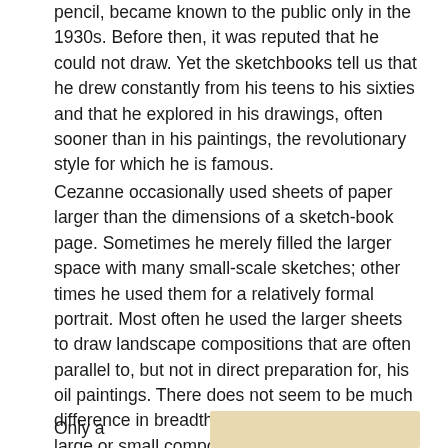pencil, became known to the public only in the 1930s. Before then, it was reputed that he could not draw. Yet the sketchbooks tell us that he drew constantly from his teens to his sixties and that he explored in his drawings, often sooner than in his paintings, the revolutionary style for which he is famous.
Cezanne occasionally used sheets of paper larger than the dimensions of a sketch-book page. Sometimes he merely filled the larger space with many small-scale sketches; other times he used them for a relatively formal portrait. Most often he used the larger sheets to draw landscape compositions that are often parallel to, but not in direct preparation for, his oil paintings. There does not seem to be much difference in breadth or complexity between his large or small composition drawings. He often felt compelled to enlivened drawings like these with washes of color.
Only a
[Figure (illustration): Partial view of a tan/beige colored illustration or image at the bottom right of the page]